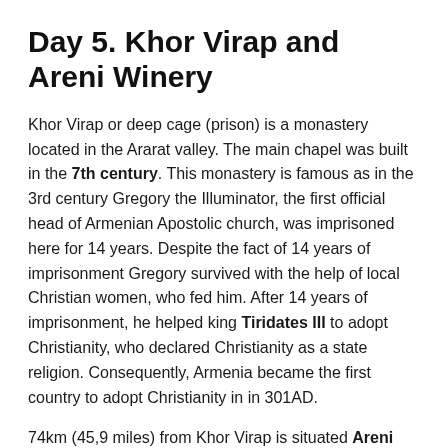Day 5. Khor Virap and Areni Winery
Khor Virap or deep cage (prison) is a monastery located in the Ararat valley. The main chapel was built in the 7th century. This monastery is famous as in the 3rd century Gregory the Illuminator, the first official head of Armenian Apostolic church, was imprisoned here for 14 years. Despite the fact of 14 years of imprisonment Gregory survived with the help of local Christian women, who fed him. After 14 years of imprisonment, he helped king Tiridates III to adopt Christianity, who declared Christianity as a state religion. Consequently, Armenia became the first country to adopt Christianity in in 301AD.
74km (45,9 miles) from Khor Virap is situated Areni Winery, famous Armenian wine factory. Areni is a village which is well-known by Areni Cave archeological site, where more than 6000-year-old wine making equipment